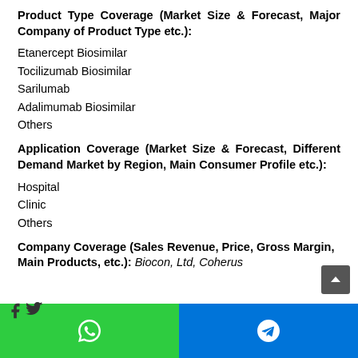Product Type Coverage (Market Size & Forecast, Major Company of Product Type etc.):
Etanercept Biosimilar
Tocilizumab Biosimilar
Sarilumab
Adalimumab Biosimilar
Others
Application Coverage (Market Size & Forecast, Different Demand Market by Region, Main Consumer Profile etc.):
Hospital
Clinic
Others
Company Coverage (Sales Revenue, Price, Gross Margin, Main Products, etc.):
Biocon, Ltd, Coherus